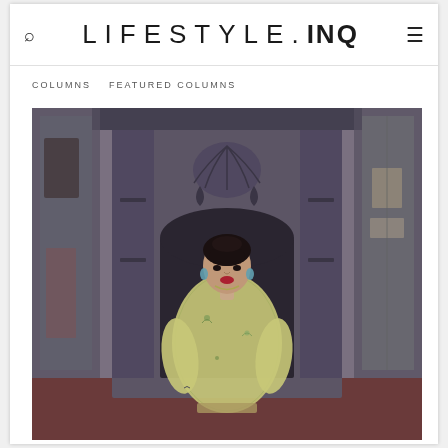LIFESTYLE.INQ
COLUMNS   FEATURED COLUMNS
[Figure (photo): A woman in a floral embroidered dress standing in front of an ornate dark fireplace mantel, with mirrors on the sides.]